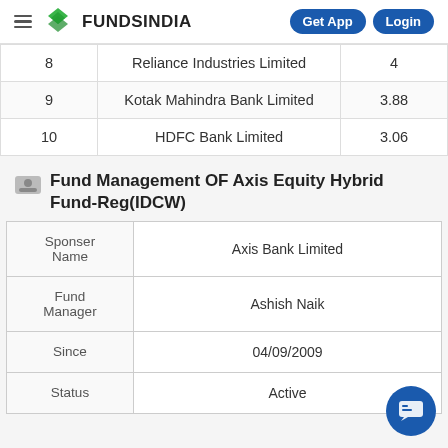FUNDSINDIA | Get App | Login
| # | Company | % |
| --- | --- | --- |
| 8 | Reliance Industries Limited | 4 |
| 9 | Kotak Mahindra Bank Limited | 3.88 |
| 10 | HDFC Bank Limited | 3.06 |
Fund Management OF Axis Equity Hybrid Fund-Reg(IDCW)
| Field | Value |
| --- | --- |
| Sponser Name | Axis Bank Limited |
| Fund Manager | Ashish Naik |
| Since | 04/09/2009 |
| Status | Active |